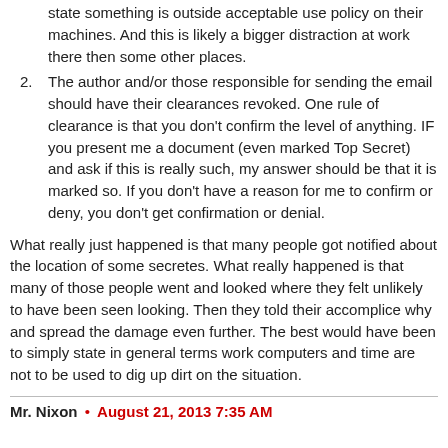state something is outside acceptable use policy on their machines. And this is likely a bigger distraction at work there then some other places.
2. The author and/or those responsible for sending the email should have their clearances revoked. One rule of clearance is that you don't confirm the level of anything. IF you present me a document (even marked Top Secret) and ask if this is really such, my answer should be that it is marked so. If you don't have a reason for me to confirm or deny, you don't get confirmation or denial.
What really just happened is that many people got notified about the location of some secretes. What really happened is that many of those people went and looked where they felt unlikely to have been seen looking. Then they told their accomplice why and spread the damage even further. The best would have been to simply state in general terms work computers and time are not to be used to dig up dirt on the situation.
Mr. Nixon • August 21, 2013 7:35 AM